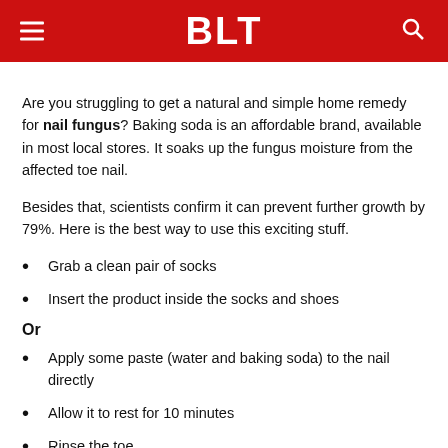BLT
Are you struggling to get a natural and simple home remedy for nail fungus? Baking soda is an affordable brand, available in most local stores. It soaks up the fungus moisture from the affected toe nail.
Besides that, scientists confirm it can prevent further growth by 79%. Here is the best way to use this exciting stuff.
Grab a clean pair of socks
Insert the product inside the socks and shoes
Or
Apply some paste (water and baking soda) to the nail directly
Allow it to rest for 10 minutes
Rinse the toe